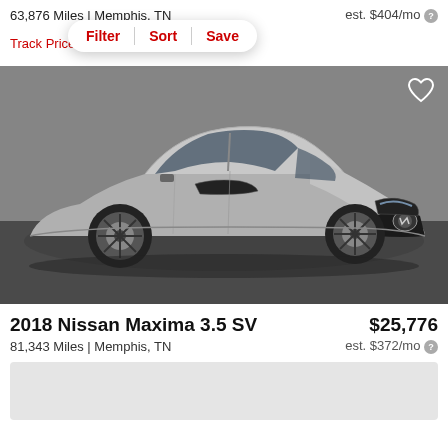63,876 Miles | Memphis, TN
est. $404/mo
Track Price   Ch   Filter   Sort   Save
[Figure (photo): Silver 2018 Nissan Maxima sedan photographed indoors on a dark floor, front three-quarter view, with a heart/favorite icon in the top right corner]
2018 Nissan Maxima 3.5 SV
$25,776
81,343 Miles | Memphis, TN
est. $372/mo